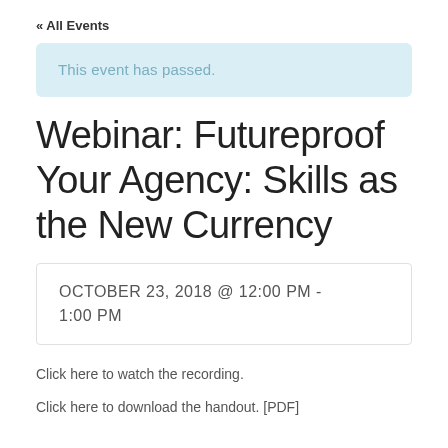« All Events
This event has passed.
Webinar: Futureproof Your Agency: Skills as the New Currency
OCTOBER 23, 2018 @ 12:00 PM - 1:00 PM
Click here to watch the recording.
Click here to download the handout. [PDF]